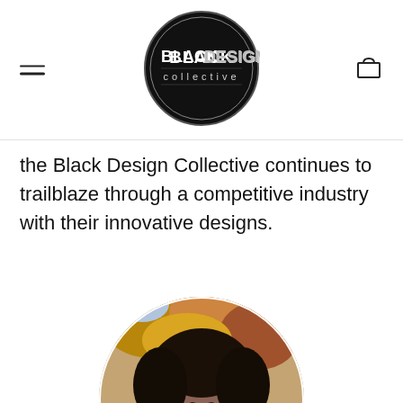[Figure (logo): Black Design Collective circular logo — black circle with 'BLACKDESIGN collective' text in white/silver]
the Black Design Collective continues to trailblaze through a competitive industry with their innovative designs.
[Figure (photo): Circular cropped portrait photo of a young Black woman with large natural curly hair, wearing black, photographed outdoors with autumn leaves in background]